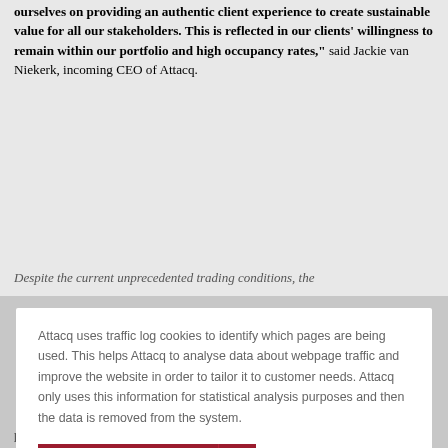ourselves on providing an authentic client experience to create sustainable value for all our stakeholders. This is reflected in our clients' willingness to remain within our portfolio and high occupancy rates," said Jackie van Niekerk, incoming CEO of Attacq.
Despite the current unprecedented trading conditions, the
Attacq uses traffic log cookies to identify which pages are being used. This helps Attacq to analyse data about webpage traffic and improve the website in order to tailor it to customer needs. Attacq only uses this information for statistical analysis purposes and then the data is removed from the system.
ACCEPT >
proposition for all stakeholders and Attacq continues